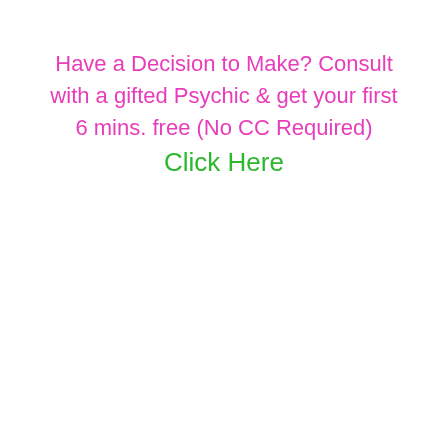Have a Decision to Make? Consult with a gifted Psychic & get your first 6 mins. free (No CC Required) Click Here